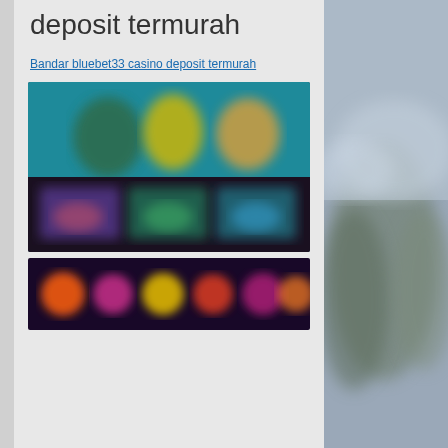deposit termurah
Bandar bluebet33 casino deposit termurah
[Figure (screenshot): Blurred screenshot of a casino gaming website showing game thumbnails with characters and slot games, dark background with colorful game icons]
[Figure (screenshot): Blurred screenshot of casino slot games with colorful symbols on dark background, partially visible at bottom of page]